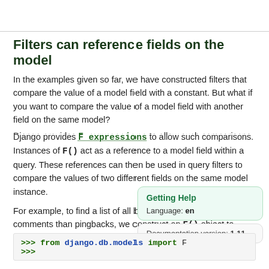Filters can reference fields on the model
In the examples given so far, we have constructed filters that compare the value of a model field with a constant. But what if you want to compare the value of a model field with another field on the same model?
Django provides F expressions to allow such comparisons. Instances of F() act as a reference to a model field within a query. These references can then be used in query filters to compare the values of two different fields on the same model instance.
For example, to find a list of all blog entries that have more comments than pingbacks, we construct an F() object to reference the pingback count, and use that F() object in the q
Getting Help
Language: en
Documentation version: 1.11
>>> from django.db.models import F
>>>